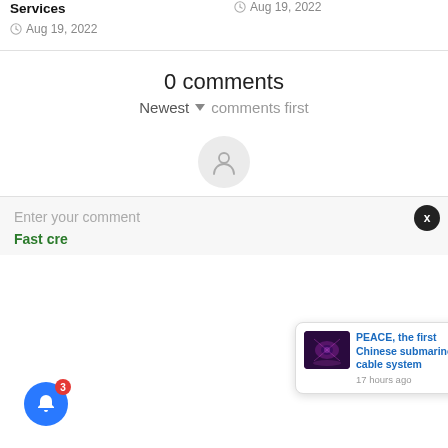Services
Aug 19, 2022
Aug 19, 2022
0 comments
Newest ▾ comments first
[Figure (illustration): User avatar circle with person silhouette icon]
Enter your comment
Fast cre...
[Figure (screenshot): Notification popup with dark image thumbnail and text: PEACE, the first Chinese submarine cable system, 17 hours ago]
[Figure (illustration): Blue bell notification button with red badge showing 3]